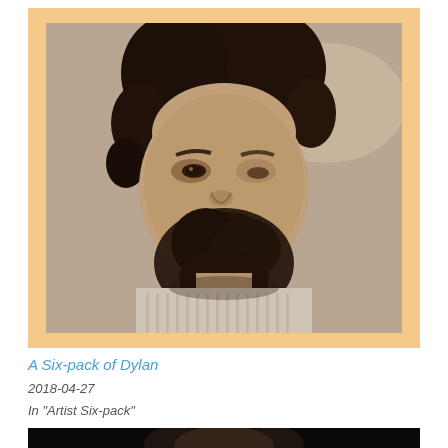[Figure (photo): Sepia-toned black and white portrait photo of a bearded man with curly dark hair against a light background, mounted on orange/tan background.]
A Six-pack of Dylan
2018-04-27
In "Artist Six-pack"
[Figure (photo): Partial view of another album cover photo at bottom of page, dark background with partial face visible.]